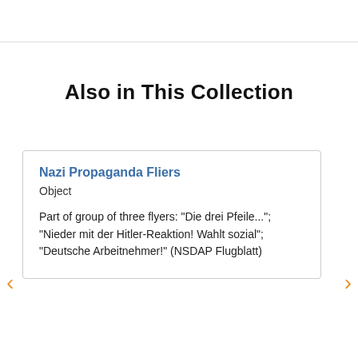Also in This Collection
Nazi Propaganda Fliers
Object
Part of group of three flyers: "Die drei Pfeile..."; "Nieder mit der Hitler-Reaktion! Wahlt sozial"; "Deutsche Arbeitnehmer!" (NSDAP Flugblatt)